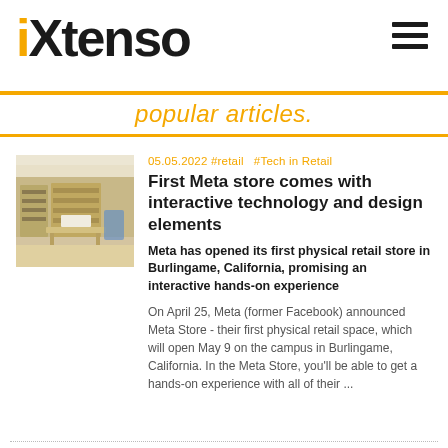iXtenso
popular articles.
[Figure (photo): Interior of a modern retail store with wooden shelving and display tables]
05.05.2022  #retail   #Tech in Retail
First Meta store comes with interactive technology and design elements
Meta has opened its first physical retail store in Burlingame, California, promising an interactive hands-on experience
On April 25, Meta (former Facebook) announced Meta Store - their first physical retail space, which will open May 9 on the campus in Burlingame, California. In the Meta Store, you'll be able to get a hands-on experience with all of their ...